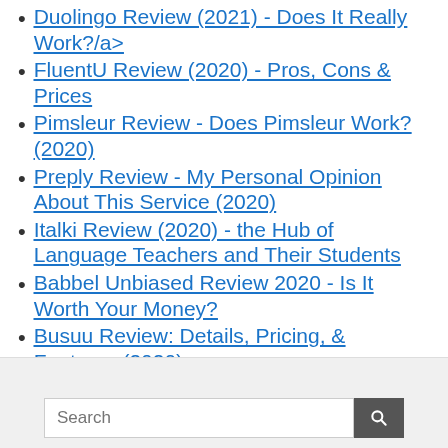Duolingo Review (2021) - Does It Really Work?/a>
FluentU Review (2020) - Pros, Cons & Prices
Pimsleur Review - Does Pimsleur Work? (2020)
Preply Review - My Personal Opinion About This Service (2020)
Italki Review (2020) - the Hub of Language Teachers and Their Students
Babbel Unbiased Review 2020 - Is It Worth Your Money?
Busuu Review: Details, Pricing, & Features (2020)
Search